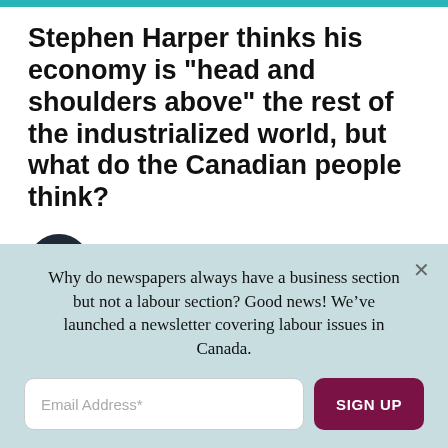Stephen Harper thinks his economy is "head and shoulders above" the rest of the industrialized world, but what do the Canadian people think?
by PressProgress
August 4, 2015
Stephen Harper thinks his economy is “head and shoulders above” the rest of the industrialized
Why do newspapers always have a business section but not a labour section? Good news! We’ve launched a newsletter covering labour issues in Canada.